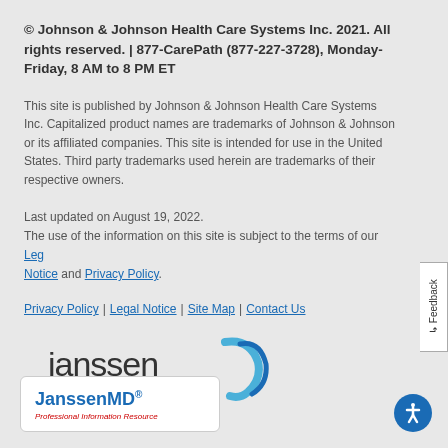© Johnson & Johnson Health Care Systems Inc. 2021. All rights reserved. | 877-CarePath (877-227-3728), Monday-Friday, 8 AM to 8 PM ET
This site is published by Johnson & Johnson Health Care Systems Inc. Capitalized product names are trademarks of Johnson & Johnson or its affiliated companies. This site is intended for use in the United States. Third party trademarks used herein are trademarks of their respective owners.
Last updated on August 19, 2022. The use of the information on this site is subject to the terms of our Legal Notice and Privacy Policy.
Privacy Policy | Legal Notice | Site Map | Contact Us
[Figure (logo): Janssen logo — Pharmaceutical Companies of Johnson & Johnson]
[Figure (logo): JanssenMD® Professional Information Resource logo in white box with border]